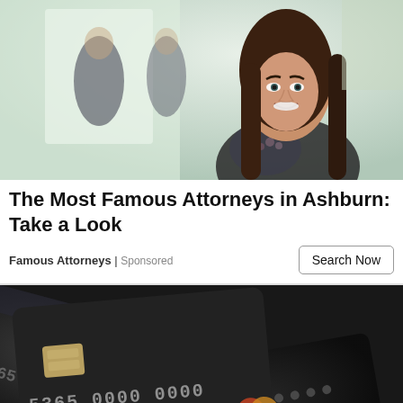[Figure (photo): A smiling brunette woman in professional attire looking over her shoulder, with blurred business people in the background — stock photo for attorney advertisement]
The Most Famous Attorneys in Ashburn: Take a Look
Famous Attorneys | Sponsored
[Figure (photo): Close-up of dark credit/debit cards fanned out, showing embossed numbers, partially visible — stock photo for financial advertisement]